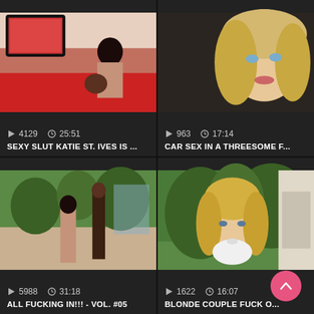[Figure (screenshot): Video thumbnail: woman with dark hair on red couch with man]
4129   25:51
SEXY SLUT KATIE ST. IVES IS ...
[Figure (screenshot): Video thumbnail: close-up of blonde woman's face in car]
963   17:14
CAR SEX IN A THREESOME F...
[Figure (screenshot): Video thumbnail: outdoor scene]
5988   31:18
ALL FUCKING IN!!! - VOL. #05
[Figure (screenshot): Video thumbnail: blonde woman in white bikini top outdoors with plants]
1622   16:07
BLONDE COUPLE FUCK O...